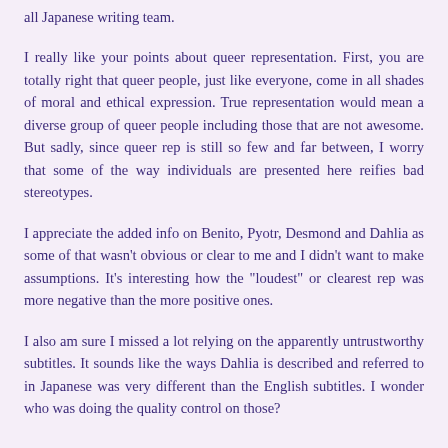all Japanese writing team.
I really like your points about queer representation. First, you are totally right that queer people, just like everyone, come in all shades of moral and ethical expression. True representation would mean a diverse group of queer people including those that are not awesome. But sadly, since queer rep is still so few and far between, I worry that some of the way individuals are presented here reifies bad stereotypes.
I appreciate the added info on Benito, Pyotr, Desmond and Dahlia as some of that wasn't obvious or clear to me and I didn't want to make assumptions. It's interesting how the "loudest" or clearest rep was more negative than the more positive ones.
I also am sure I missed a lot relying on the apparently untrustworthy subtitles. It sounds like the ways Dahlia is described and referred to in Japanese was very different than the English subtitles. I wonder who was doing the quality control on those?